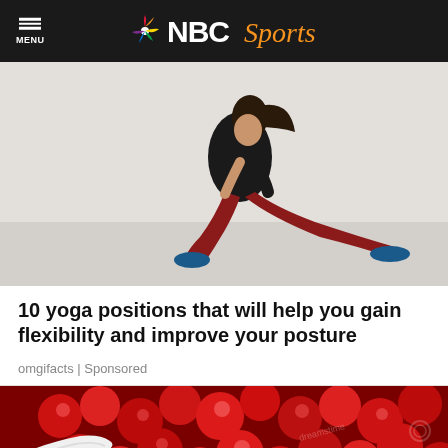NBC Sports
[Figure (photo): Woman in red yoga pants performing a deep lunge stretch in a gym with white brick walls]
10 yoga positions that will help you gain flexibility and improve your posture
omgifacts | Sponsored
[Figure (photo): Close-up of red pomegranate seeds/berries with a white spoon, watermarked dreamstime]